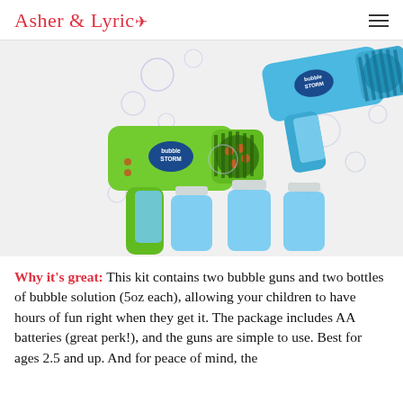Asher & Lyric
[Figure (photo): Two bubble guns (one green, one blue) labeled 'Bubble Storm', with bubbles floating around them and two blue bottles of bubble solution in the foreground.]
Why it's great: This kit contains two bubble guns and two bottles of bubble solution (5oz each), allowing your children to have hours of fun right when they get it. The package includes AA batteries (great perk!), and the guns are simple to use. Best for ages 2.5 and up. And for peace of mind, the